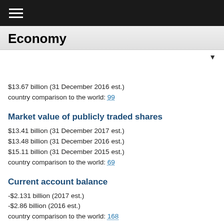Economy
$13.67 billion (31 December 2016 est.)
country comparison to the world: 99
Market value of publicly traded shares
$13.41 billion (31 December 2017 est.)
$13.48 billion (31 December 2016 est.)
$15.11 billion (31 December 2015 est.)
country comparison to the world: 69
Current account balance
-$2.131 billion (2017 est.)
-$2.86 billion (2016 est.)
country comparison to the world: 168
Exports
$13.84 billion (2017 est.)
$11.14 billion (2016 est.)
country comparison to the world: 78